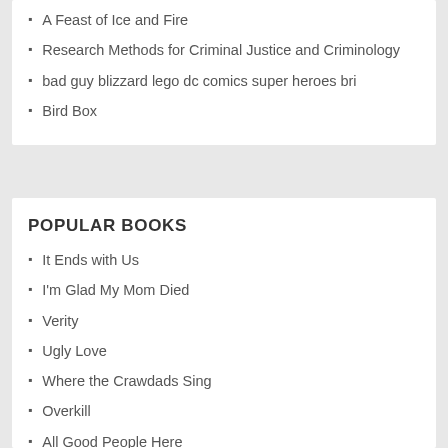A Feast of Ice and Fire
Research Methods for Criminal Justice and Criminology
bad guy blizzard lego dc comics super heroes bri
Bird Box
POPULAR BOOKS
It Ends with Us
I'm Glad My Mom Died
Verity
Ugly Love
Where the Crawdads Sing
Overkill
All Good People Here
The Good…